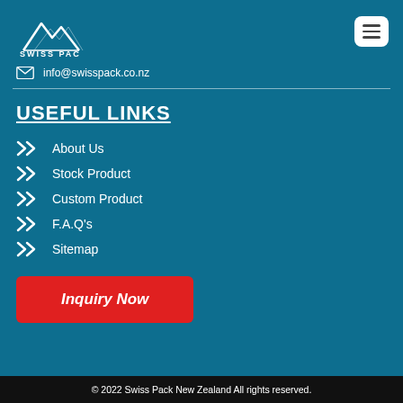[Figure (logo): Swiss Pac New Zealand logo with mountain icon, white text on teal background]
info@swisspack.co.nz
USEFUL LINKS
About Us
Stock Product
Custom Product
F.A.Q's
Sitemap
Inquiry Now
© 2022 Swiss Pack New Zealand All rights reserved.